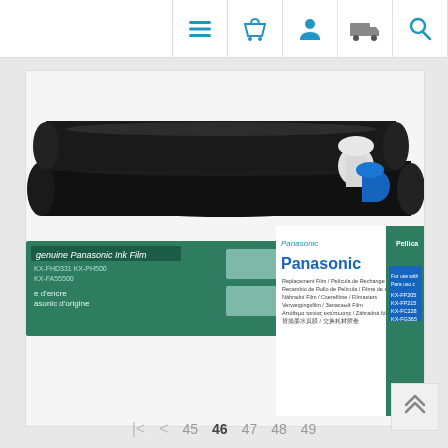[Figure (screenshot): Website navigation bar with icons: hamburger menu, shopping basket, user profile, delivery truck, and search (magnifying glass) — all in blue/cyan color on white background]
[Figure (photo): Product photo of Panasonic KX-FA57A ink film replacement rolls and two Panasonic branded green and white product boxes showing multilingual text and model numbers including KX-FP205, KX-FP215, KX-FC228, KX-FG365]
[Figure (screenshot): Scroll-to-top button (double up arrow chevron) on light gray background]
| < 45 46 47 48 49